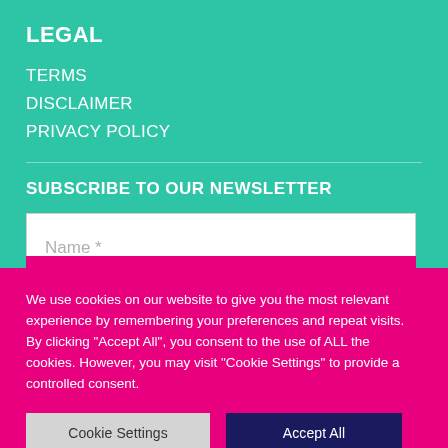LEGAL
TERMS
DISCLAIMER
PRIVACY POLICY
SUBSCRIBE TO OUR NEWSLETTER
Name *
We use cookies on our website to give you the most relevant experience by remembering your preferences and repeat visits. By clicking "Accept All", you consent to the use of ALL the cookies. However, you may visit "Cookie Settings" to provide a controlled consent.
Cookie Settings
Accept All